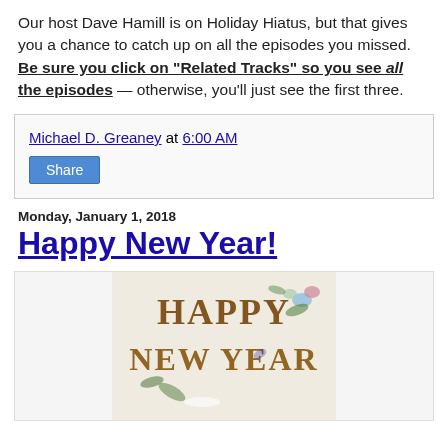Our host Dave Hamill is on Holiday Hiatus, but that gives you a chance to catch up on all the episodes you missed. Be sure you click on "Related Tracks" so you see all the episodes — otherwise, you'll just see the first three.
Michael D. Greaney at 6:00 AM
Share
Monday, January 1, 2018
Happy New Year!
[Figure (illustration): Vintage Happy New Year greeting card illustration with decorative letters spelling HAPPY NEW YEAR, adorned with flowers, leaves, and botanical elements in warm brown and green tones.]